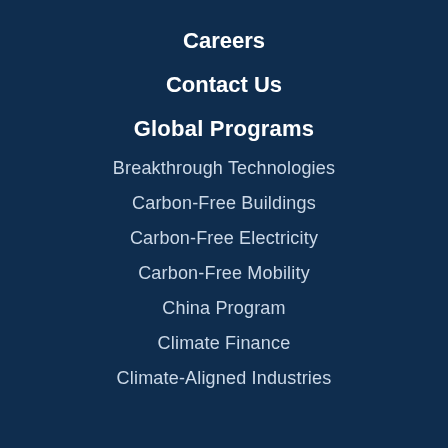Careers
Contact Us
Global Programs
Breakthrough Technologies
Carbon-Free Buildings
Carbon-Free Electricity
Carbon-Free Mobility
China Program
Climate Finance
Climate-Aligned Industries